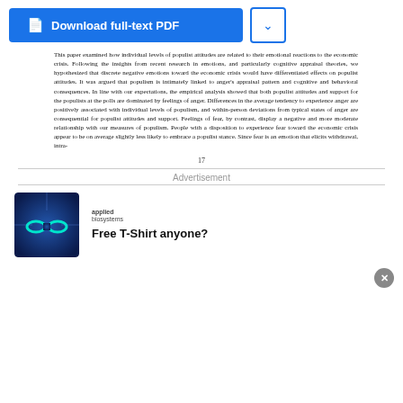[Figure (screenshot): Blue Download full-text PDF button with document icon, and a chevron dropdown button beside it]
This paper examined how individual levels of populist attitudes are related to their emotional reactions to the economic crisis. Following the insights from recent research in emotions, and particularly cognitive appraisal theories, we hypothesized that discrete negative emotions toward the economic crisis would have differentiated effects on populist attitudes. It was argued that populism is intimately linked to anger's appraisal pattern and cognitive and behavioral consequences. In line with our expectations, the empirical analysis showed that both populist attitudes and support for the populists at the polls are dominated by feelings of anger. Differences in the average tendency to experience anger are positively associated with individual levels of populism, and within-person deviations from typical states of anger are consequential for populist attitudes and support. Feelings of fear, by contrast, display a negative and more moderate relationship with our measures of populism. People with a disposition to experience fear toward the economic crisis appear to be on average slightly less likely to embrace a populist stance. Since fear is an emotion that elicits withdrawal, intra-
17
Advertisement
[Figure (illustration): Advertisement image: blue background with infinity symbol logo for Applied Biosystems, with text 'Free T-Shirt anyone?']